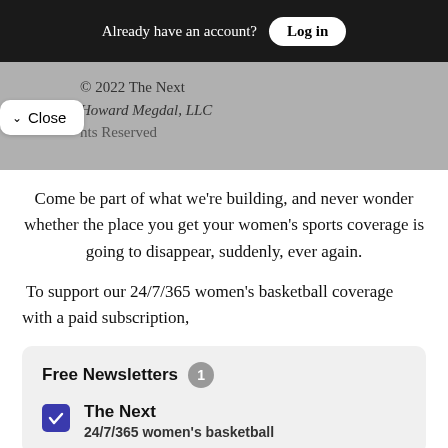Already have an account? Log in
© 2022 The Next Howard Megdal, LLC
rights Reserved
Close
Come be part of what we're building, and never wonder whether the place you get your women's sports coverage is going to disappear, suddenly, ever again.
To support our 24/7/365 women's basketball coverage with a paid subscription,
Free Newsletters 1
The Next
24/7/365 women's basketball